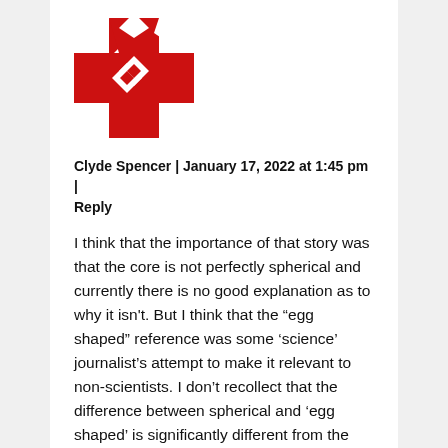[Figure (logo): Red geometric logo with cross/diamond pattern (Watts Up With That or similar science blog)]
Clyde Spencer | January 17, 2022 at 1:45 pm | Reply
I think that the importance of that story was that the core is not perfectly spherical and currently there is no good explanation as to why it isn't. But I think that the “egg shaped” reference was some ‘science’ journalist’s attempt to make it relevant to non-scientists. I don’t recollect that the difference between spherical and ‘egg shaped’ is significantly different from the difference between the Earth’s surface — a spheroid or geoid —